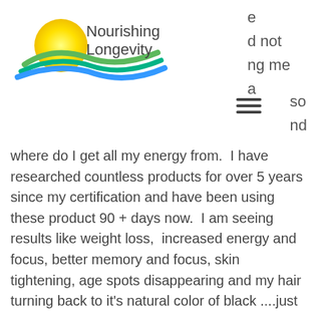[Figure (logo): Nourishing Longevity logo with sun, waves in yellow, blue and green, and text 'Nourishing Longevity']
d not
ng me
a
so
nd
where do I get all my energy from.  I have researched countless products for over 5 years since my certification and have been using these product 90 + days now.  I am seeing results like weight loss,  increased energy and focus, better memory and focus, skin tightening, age spots disappearing and my hair turning back to it's natural color of black ....just when I was getting used to the...